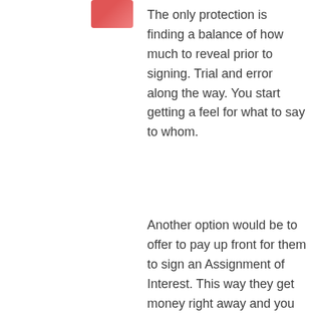[Figure (photo): Partial image visible at top left corner, appears to be a person or object with red/pink coloring]
The only protection is finding a balance of how much to reveal prior to signing. Trial and error along the way. You start getting a feel for what to say to whom.
Another option would be to offer to pay up front for them to sign an Assignment of Interest. This way they get money right away and you know the...